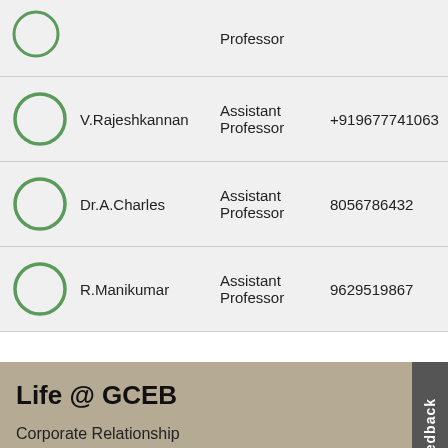| Photo | Name | Role | Phone |
| --- | --- | --- | --- |
|  |  | Professor |  |
|  | V.Rajeshkannan | Assistant Professor | +919677741063 |
|  | Dr.A.Charles | Assistant Professor | 8056786432 |
|  | R.Manikumar | Assistant Professor | 9629519867 |
Life @ GCEB
Corporate Relationship
GCEB Alumni
Reach GCEB